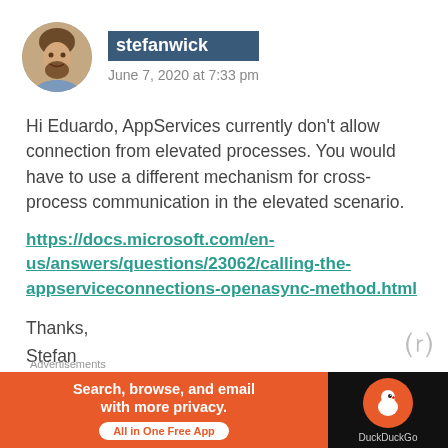[Figure (photo): Round avatar photo of a man with a beard and brown hair, smiling]
stefanwick
June 7, 2020 at 7:33 pm
Hi Eduardo, AppServices currently don't allow connection from elevated processes. You would have to use a different mechanism for cross-process communication in the elevated scenario.
https://docs.microsoft.com/en-us/answers/questions/23062/calling-the-appserviceconnections-openasync-method.html
Thanks,
Stefan
[Figure (infographic): DuckDuckGo advertisement banner: orange left panel with text 'Search, browse, and email with more privacy. All in One Free App', dark right panel with DuckDuckGo logo]